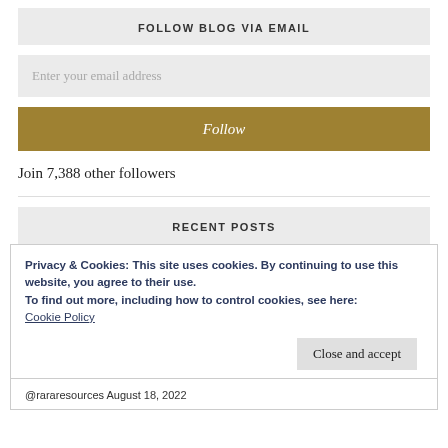FOLLOW BLOG VIA EMAIL
Enter your email address
Follow
Join 7,388 other followers
RECENT POSTS
Privacy & Cookies: This site uses cookies. By continuing to use this website, you agree to their use.
To find out more, including how to control cookies, see here:
Cookie Policy
Close and accept
@rararesources August 18, 2022